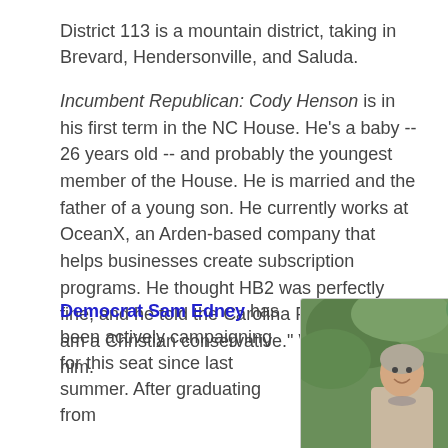District 113 is a mountain district, taking in Brevard, Hendersonville, and Saluda.
Incumbent Republican: Cody Henson is in his first term in the NC House. He's a baby -- 26 years old -- and probably the youngest member of the House. He is married and the father of a young son. He currently works at OceanX, an Arden-based company that helps businesses create subscription programs. He thought HB2 was perfectly fine, and he told the Carolina Public Press: "I am a Christian conservative." We believe him.
Democrat Sam Edney has been actively campaigning for this seat since last summer. After graduating from
[Figure (photo): Photo of a smiling couple (man and woman) standing outdoors in front of green foliage. The woman is on the left wearing a light-colored top with a necklace, and the man is on the right wearing a gray suit and bow tie.]